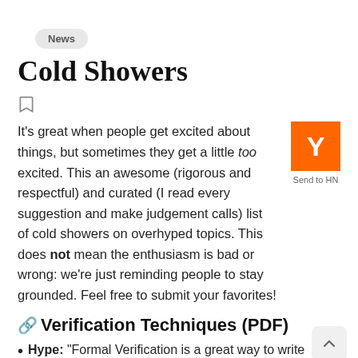News
Cold Showers
[Figure (other): Bookmark icon (outline bookmark symbol)]
It's great when people get excited about things, but sometimes they get a little too excited. This an awesome (rigorous and respectful) and curated (I read every suggestion and make judgement calls) list of cold showers on overhyped topics. This does not mean the enthusiasm is bad or wrong: we're just reminding people to stay grounded. Feel free to submit your favorites!
[Figure (logo): Hacker News Y combinator orange logo with white Y letter, and 'Send to HN' label below]
🔗Verification Techniques (PDF)
Hype: "Formal Verification is a great way to write